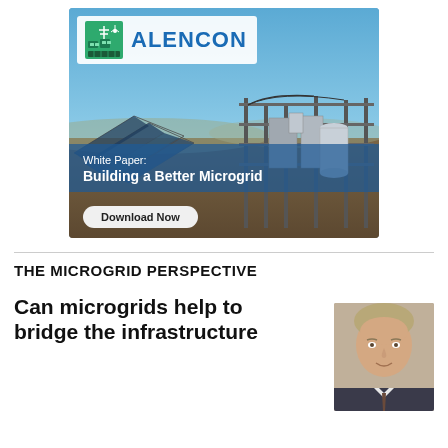[Figure (photo): Alencon advertisement banner showing a solar/microgrid installation with equipment and structures under a blue sky. Logo in top-left on white background reads ALENCON. Overlay text: White Paper: Building a Better Microgrid. Download Now button at bottom.]
THE MICROGRID PERSPECTIVE
Can microgrids help to bridge the infrastructure
[Figure (photo): Headshot of a middle-aged man with short grey-blond hair, wearing a suit, smiling slightly.]